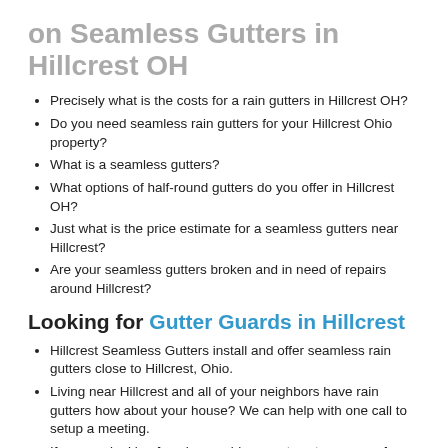on Seamless Gutters in Hillcrest OH
Precisely what is the costs for a rain gutters in Hillcrest OH?
Do you need seamless rain gutters for your Hillcrest Ohio property?
What is a seamless gutters?
What options of half-round gutters do you offer in Hillcrest OH?
Just what is the price estimate for a seamless gutters near Hillcrest?
Are your seamless gutters broken and in need of repairs around Hillcrest?
Looking for Gutter Guards in Hillcrest
Hillcrest Seamless Gutters install and offer seamless rain gutters close to Hillcrest, Ohio.
Living near Hillcrest and all of your neighbors have rain gutters how about your house? We can help with one call to setup a meeting.
If you are looking for who provides great customer care for